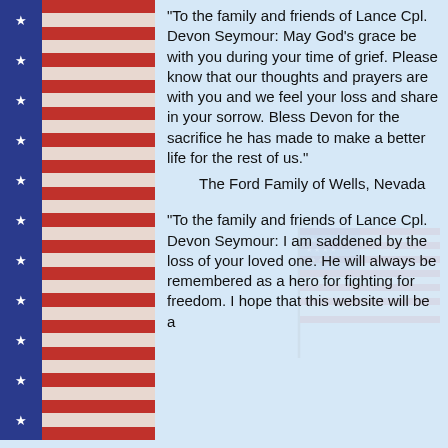[Figure (illustration): Left border made of American flag stripes (red, white) and blue canton with white stars, repeated vertically]
"To the family and friends of Lance Cpl. Devon Seymour: May God's grace be with you during your time of grief. Please know that our thoughts and prayers are with you and we feel your loss and share in your sorrow. Bless Devon for the sacrifice he has made to make a better life for the rest of us."
    The Ford Family of Wells, Nevada
[Figure (illustration): Faded/watermark American flag image overlaid in the center-right of the page]
"To the family and friends of Lance Cpl. Devon Seymour: I am saddened by the loss of your loved one. He will always be remembered as a hero for fighting for freedom. I hope that this website will be a